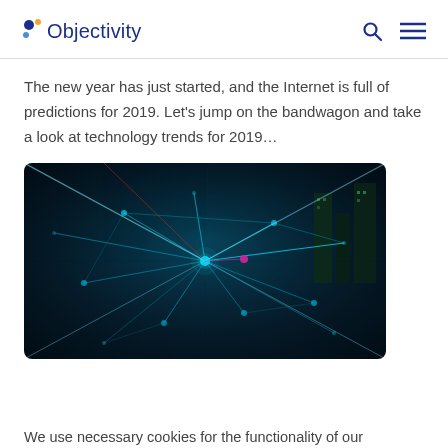Objectivity
The new year has just started, and the Internet is full of predictions for 2019. Let’s jump on the bandwagon and take a look at technology trends for 2019…
[Figure (photo): Dark background digital network visualization with glowing cyan/blue light beams and nodes forming a 3D network mesh, with city buildings visible in the background]
We use necessary cookies for the functionality of our